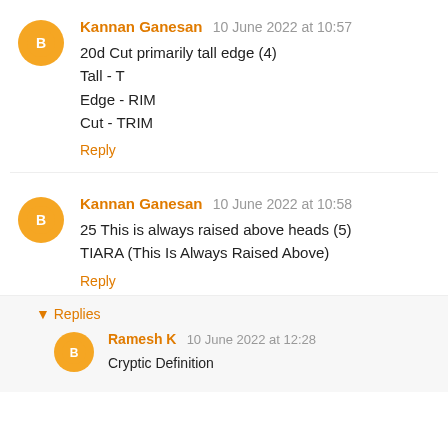Kannan Ganesan 10 June 2022 at 10:57
20d Cut primarily tall edge (4)
Tall - T
Edge - RIM
Cut - TRIM
Reply
Kannan Ganesan 10 June 2022 at 10:58
25 This is always raised above heads (5)
TIARA (This Is Always Raised Above)
Reply
▾ Replies
Ramesh K 10 June 2022 at 12:28
Cryptic Definition